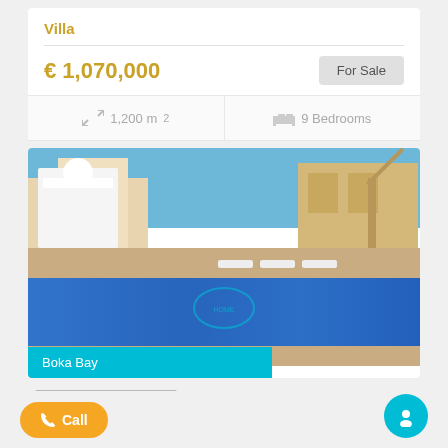Villa
€ 1,070,000
For Sale
1,200 m²
9 Bedrooms
[Figure (photo): Outdoor swimming pool with lounge chairs, beige stone building with staircase in background, blue sky, watermark logo in center]
Boka Bay
& Call